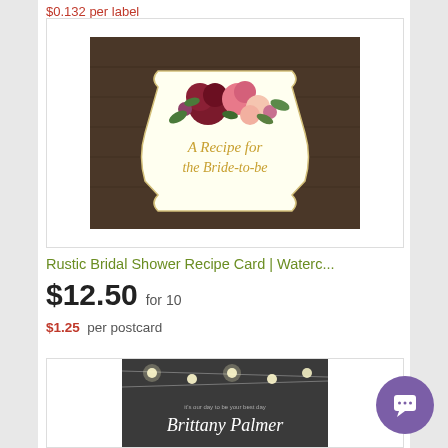$0.132 per label
[Figure (photo): Rustic bridal shower recipe card with watercolor burgundy and pink floral arrangement on dark wood background, cream label shape with gold script text 'A Recipe for the Bride-to-be']
Rustic Bridal Shower Recipe Card | Waterc...
$12.50 for 10
$1.25 per postcard
[Figure (photo): Dark chalkboard style invitation with string lights and script text 'Brittany Palmer']